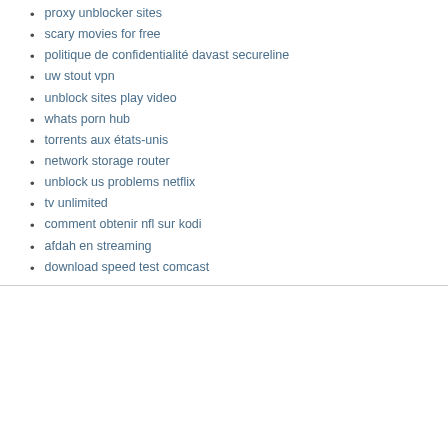proxy unblocker sites
scary movies for free
politique de confidentialité davast secureline
uw stout vpn
unblock sites play video
whats porn hub
torrents aux états-unis
network storage router
unblock us problems netflix
tv unlimited
comment obtenir nfl sur kodi
afdah en streaming
download speed test comcast